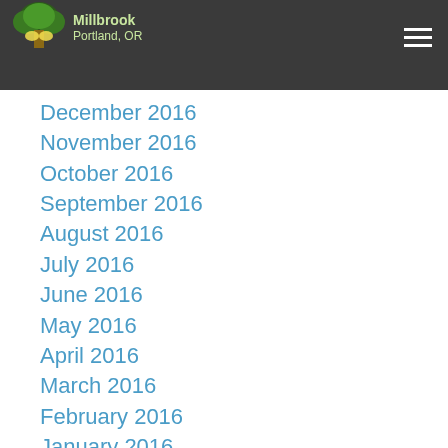Site logo and navigation header
December 2016
November 2016
October 2016
September 2016
August 2016
July 2016
June 2016
May 2016
April 2016
March 2016
February 2016
January 2016
December 2015
November 2015
October 2015
September 2015
August 2015